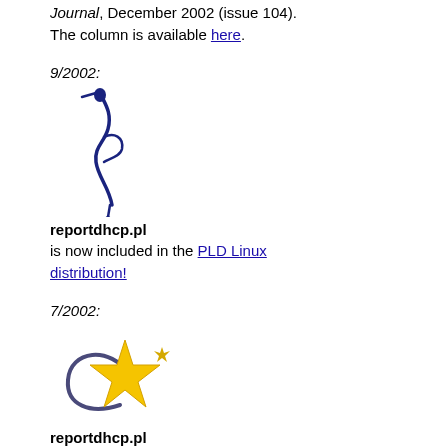Journal, December 2002 (issue 104). The column is available here.
9/2002:
[Figure (logo): PLD Linux bird logo — a dark blue stylized bird/heron silhouette]
reportdhcp.pl is now included in the PLD Linux distribution!
7/2002:
[Figure (logo): Gold star with a crescent/swoosh — a Linux or software award badge]
reportdhcp.pl is included in